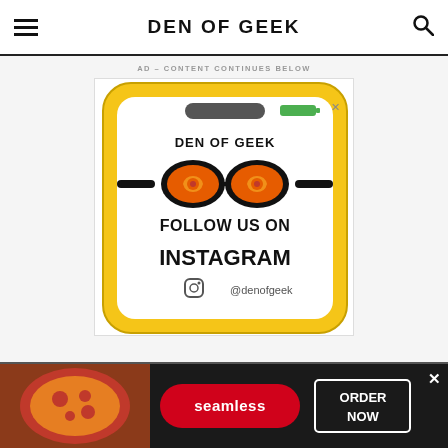DEN OF GEEK
AD – CONTENT CONTINUES BELOW
[Figure (infographic): Den of Geek Instagram promotion ad showing a stylized smartphone with swirly-lens sunglasses graphic and text: DEN OF GEEK, FOLLOW US ON INSTAGRAM, @denofgeek]
[Figure (infographic): Seamless food delivery banner ad with pizza image, Seamless logo, and ORDER NOW button]